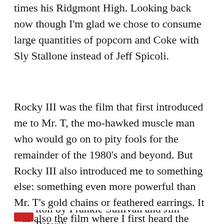times his Ridgmont High. Looking back now though I'm glad we chose to consume large quantities of popcorn and Coke with Sly Stallone instead of Jeff Spicoli.
Rocky III was the film that first introduced me to Mr. T, the mo-hawked muscle man who would go on to pity fools for the remainder of the 1980's and beyond. But Rocky III also introduced me to something else: something even more powerful than Mr. T's gold chains or feathered earrings. It was also the film where I first heard the now infamous guitar riff for a song from a band that would change my life: Eye Of The Tiger by Survivor.
tton by Frankie Sullivan and Jim Peterik